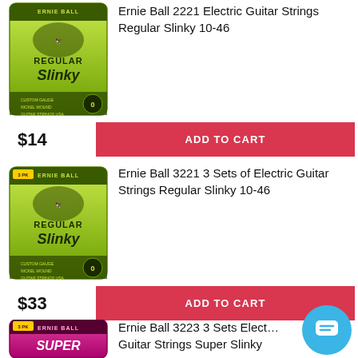[Figure (photo): Ernie Ball Regular Slinky guitar string pack (green, model 2221)]
Ernie Ball 2221 Electric Guitar Strings Regular Slinky 10-46
$14
ADD TO CART
[Figure (photo): Ernie Ball Regular Slinky 3-pack guitar strings (green, model 3221)]
Ernie Ball 3221 3 Sets of Electric Guitar Strings Regular Slinky 10-46
$33
ADD TO CART
[Figure (photo): Ernie Ball Super Slinky 3-pack guitar strings (pink/magenta, model 3223), partially visible]
Ernie Ball 3223 3 Sets Electric Guitar Strings Super Slinky